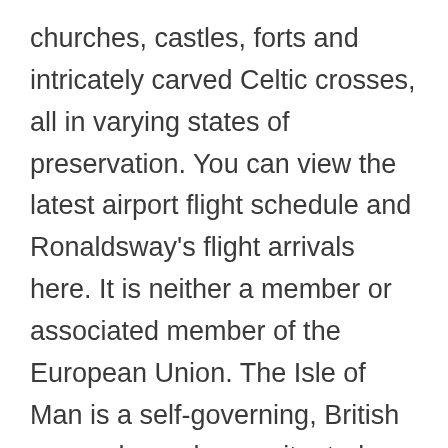churches, castles, forts and intricately carved Celtic crosses, all in varying states of preservation. You can view the latest airport flight schedule and Ronaldsway's flight arrivals here. It is neither a member or associated member of the European Union. The Isle of Man is a self-governing, British crown dependency, situated halfway between Northern Ireland and the northwest of England. Find the latest properties available for sale now in Isle of Man from leading estate agents. Choose Eastern Airways and you choose convenience, speed and a hassle free service in short-haul air travel. Find unique places to stay with local hosts in 191 countries. It did not take part in the Brexit referendum. Isle Of Man (uk) News. If your planner remains unfinished, don't forget to hit save and come back later on! Book your tickets online for the top things to do in Isle of Man, United Kingdom on Tripadvisor: See 64,125